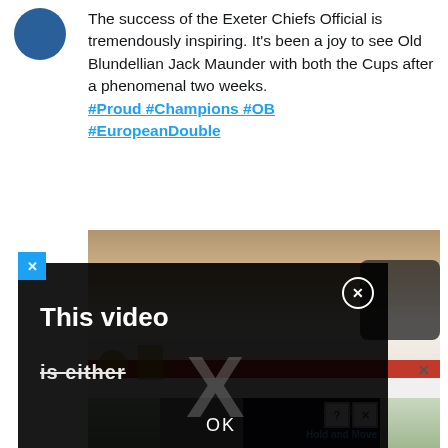The success of the Exeter Chiefs Official is tremendously inspiring. It's been a joy to see Old Blundellian Jack Maunder with both the Cups after a phenomenal two weeks.
#Proud #Champions #OB #EuropeanDouble
[Figure (screenshot): Photo of a locker room scene with players and trophies, overlaid by a dark video error dialog saying 'This video is either...' with an OK button and X close button. A blue X badge is visible in the upper-left corner of the media area. A mobile game advertisement strip appears at the bottom.]